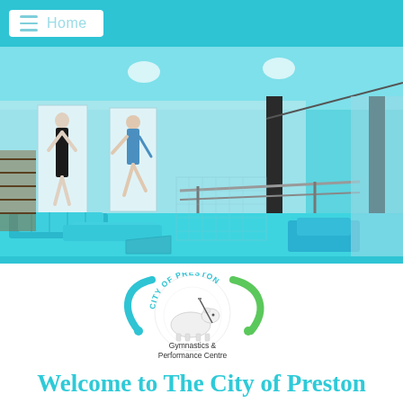Home
[Figure (photo): Interior of a gymnastics facility showing blue padded mats and equipment on the floor, horizontal bars in the background, posters of gymnasts on the wall, and overhead lighting.]
[Figure (logo): City of Preston Gymnastics & Performance Centre circular logo featuring a lamb with a sword surrounded by teal and green decorative elements with the text 'CITY OF PRESTON' around the top arc and 'Gymnastics & Performance Centre' below.]
Welcome to The City of Preston